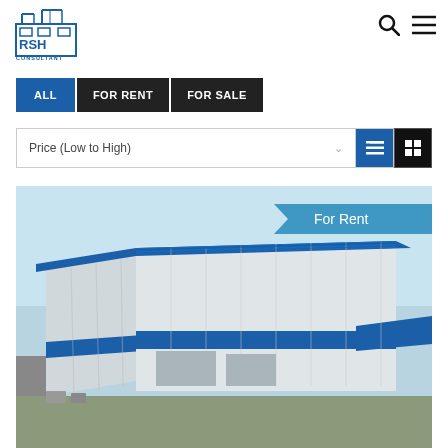[Figure (logo): RSH Consultant logo - blue building silhouette with RSH text]
ALL
FOR RENT
FOR SALE
Price (Low to High)
[Figure (photo): Warehouse building with blue and white corrugated metal cladding and blue roof trim, viewed from exterior angle. Badge: For Rent]